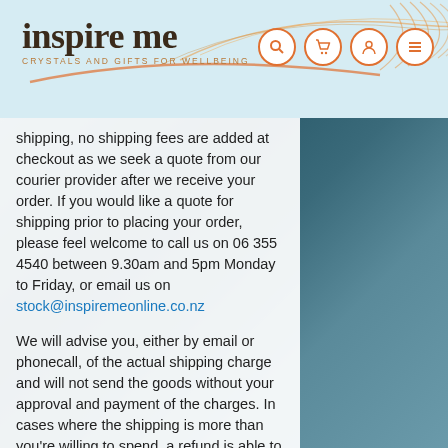[Figure (logo): Inspire Me crystals and gifts for wellbeing logo with orange swoosh graphic and navigation icons (search, cart, account, menu)]
shipping, no shipping fees are added at checkout as we seek a quote from our courier provider after we receive your order. If you would like a quote for shipping prior to placing your order, please feel welcome to call us on 06 355 4540 between 9.30am and 5pm Monday to Friday, or email us on stock@inspiremeonline.co.nz
We will advise you, either by email or phonecall, of the actual shipping charge and will not send the goods without your approval and payment of the charges. In cases where the shipping is more than you're willing to spend, a refund is able to be issued immediately. Click and Collect is also an option if you're local.
Orders are delivered by NZ Couriers and require a signature upon delivery. Please make sure the